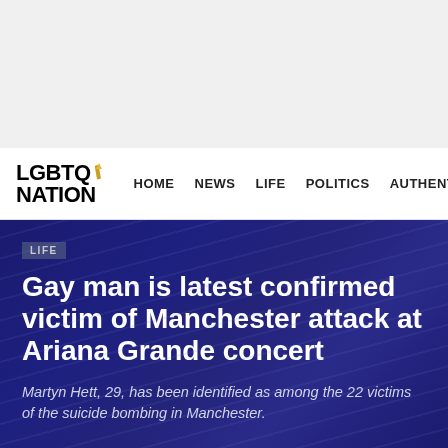[Figure (other): Advertisement banner area, light gray background]
LGBTQ NATION | HOME | NEWS | LIFE | POLITICS | AUTHENTIC
LIFE
Gay man is latest confirmed victim of Manchester attack at Ariana Grande concert
Martyn Hett, 29, has been identified as among the 22 victims of the suicide bombing in Manchester.